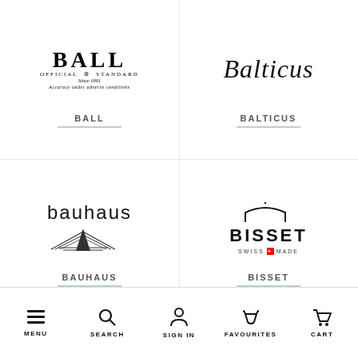[Figure (logo): BALL Watch logo with text 'BALL Official Standard Since 1891 Accuracy under adverse conditions']
BALL
[Figure (logo): Balticus brand logo in italic script font]
BALTICUS
[Figure (logo): bauhaus brand logo with lowercase text and geometric wing emblem]
BAUHAUS
[Figure (logo): BISSET Swiss Made logo with arch decoration]
BISSET
MENU  SEARCH  SIGN IN  FAVOURITES  CART